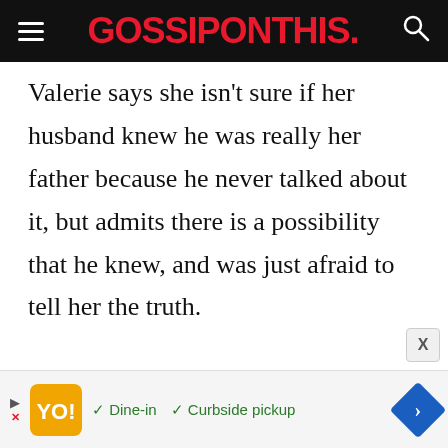GOSSIPONTHIS.
Valerie says she isn’t sure if her husband knew he was really her father because he never talked about it, but admits there is a possibility that he knew, and was just afraid to tell her the truth.
[Figure (other): Advertisement banner showing a restaurant ad with orange logo, Dine-in and Curbside pickup checkmarks, and a blue diamond arrow icon]